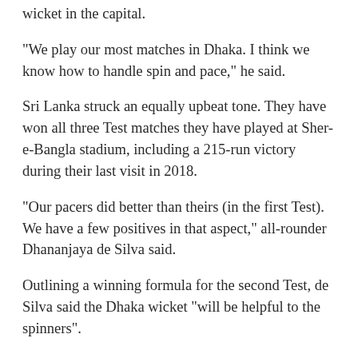wicket in the capital.
“We play our most matches in Dhaka. I think we know how to handle spin and pace,” he said.
Sri Lanka struck an equally upbeat tone. They have won all three Test matches they have played at Sher-e-Bangla stadium, including a 215-run victory during their last visit in 2018.
“Our pacers did better than theirs (in the first Test). We have a few positives in that aspect,” all-rounder Dhananjaya de Silva said.
Outlining a winning formula for the second Test, de Silva said the Dhaka wicket “will be helpful to the spinners”.
“If we are batting first we will try to get 275-300, and then get